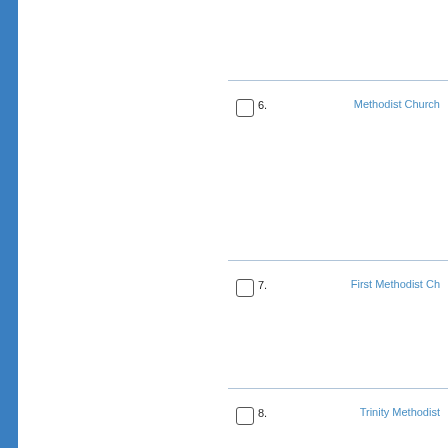6. Methodist Church
7. First Methodist Ch
8. Trinity Methodist